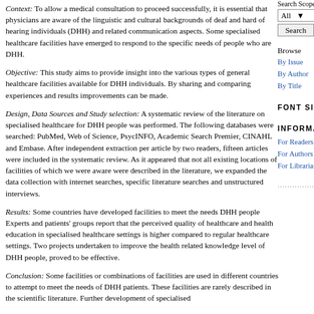Context: To allow a medical consultation to proceed successfully, it is essential that physicians are aware of the linguistic and cultural backgrounds of deaf and hard of hearing individuals (DHH) and related communication aspects. Some specialised healthcare facilities have emerged to respond to the specific needs of people who are DHH.
Objective: This study aims to provide insight into the various types of general healthcare facilities available for DHH individuals. By sharing and comparing experiences and results improvements can be made.
Design, Data Sources and Study selection: A systematic review of the literature on specialised healthcare for DHH people was performed. The following databases were searched: PubMed, Web of Science, PsycINFO, Academic Search Premier, CINAHL and Embase. After independent extraction per article by two readers, fifteen articles were included in the systematic review. As it appeared that not all existing locations of facilities of which we were aware were described in the literature, we expanded the data collection with internet searches, specific literature searches and unstructured interviews.
Results: Some countries have developed facilities to meet the needs DHH people Experts and patients' groups report that the perceived quality of healthcare and health education in specialised healthcare settings is higher compared to regular healthcare settings. Two projects undertaken to improve the health related knowledge level of DHH people, proved to be effective.
Conclusion: Some facilities or combinations of facilities are used in different countries to attempt to meet the needs of DHH patients. These facilities are rarely described in the scientific literature. Further development of specialised
Search Scope
All
Search
Browse
By Issue
By Author
By Title
FONT SIZE
INFORMATION
For Readers
For Authors
For Librarians